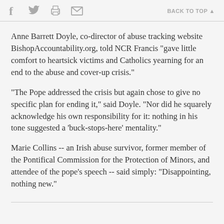f [twitter] [print] [email]   BACK TO TOP ▲
Anne Barrett Doyle, co-director of abuse tracking website BishopAccountability.org, told NCR Francis "gave little comfort to heartsick victims and Catholics yearning for an end to the abuse and cover-up crisis."
"The Pope addressed the crisis but again chose to give no specific plan for ending it," said Doyle. "Nor did he squarely acknowledge his own responsibility for it: nothing in his tone suggested a 'buck-stops-here' mentality."
Marie Collins -- an Irish abuse survivor, former member of the Pontifical Commission for the Protection of Minors, and attendee of the pope's speech -- said simply: "Disappointing, nothing new."